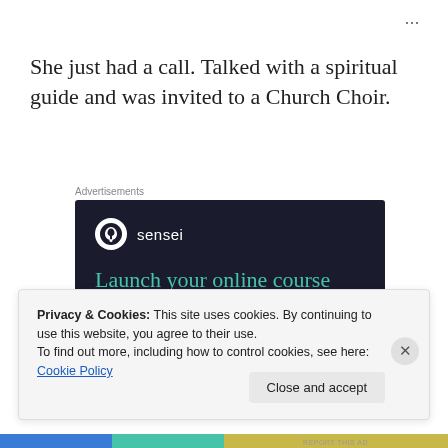...
She just had a call. Talked with a spiritual guide and was invited to a Church Choir.
Advertisements
[Figure (screenshot): Sensei advertisement: dark navy background with Sensei logo (tree icon in white circle), teal headline text reading 'Launch your online course with WordPress', and a teal rounded button partially visible at bottom.]
Privacy & Cookies: This site uses cookies. By continuing to use this website, you agree to their use.
To find out more, including how to control cookies, see here: Cookie Policy
Close and accept